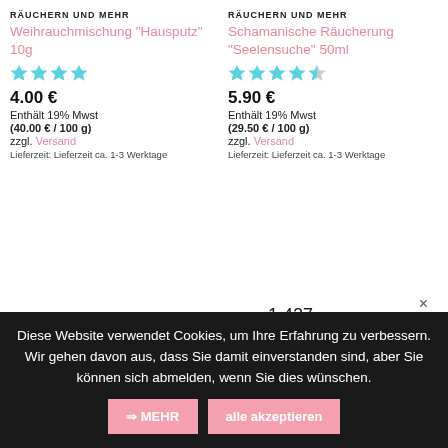RÄUCHERN UND MEHR
Weihrauchmischung "Hausputz" 10g
[Figure (other): 4 filled cyan/teal star rating icons]
4.00 €
Enthält 19% Mwst
(40.00 € / 100 g)
zzgl. Versand
Lieferzeit: Lieferzeit ca. 1-3 Werktage
RÄUCHERN UND MEHR
Schamanische Räucherung "Seelensuche" 50ml
[Figure (other): 4.5 filled cyan/teal star rating icons]
5.90 €
Enthält 19% Mwst
(29.50 € / 100 g)
zzgl. Versand
Lieferzeit: Lieferzeit ca. 1-3 Werktage
1.427
Sehr gut
4.62 / 5.00
Diese Website verwendet Cookies, um Ihre Erfahrung zu verbessern. Wir gehen davon aus, dass Sie damit einverstanden sind, aber Sie können sich abmelden, wenn Sie dies wünschen.
⇒ MEHR
alle akzeptieren